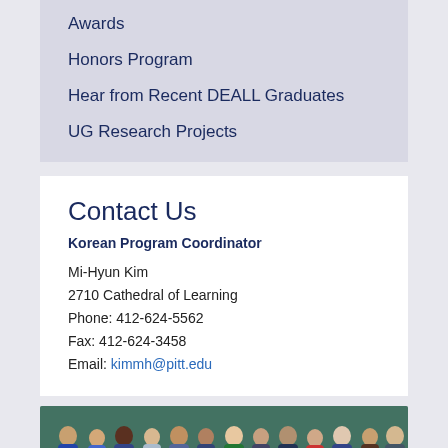Awards
Honors Program
Hear from Recent DEALL Graduates
UG Research Projects
Contact Us
Korean Program Coordinator
Mi-Hyun Kim
2710 Cathedral of Learning
Phone: 412-624-5562
Fax: 412-624-3458
Email: kimmh@pitt.edu
[Figure (photo): Group photo of students and faculty standing in front of a green chalkboard in a classroom setting.]